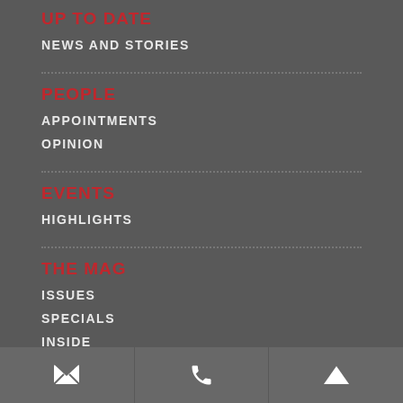UP TO DATE
NEWS AND STORIES
PEOPLE
APPOINTMENTS
OPINION
EVENTS
HIGHLIGHTS
THE MAG
ISSUES
SPECIALS
INSIDE
[Figure (infographic): Bottom navigation bar with three icon buttons: envelope/mail icon, phone icon, and up arrow icon]